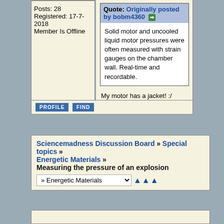Posts: 28
Registered: 17-7-2018
Member Is Offline
Quote: Originally posted by bobm4360
Solid motor and uncooled liquid motor pressures were often measured with strain gauges on the chamber wall. Real-time and recordable.
My motor has a jacket! :/
PROFILE  FIND
Sciencemadness Discussion Board » Special topics » Energetic Materials » Measuring the pressure of an explosion
» Energetic Materials